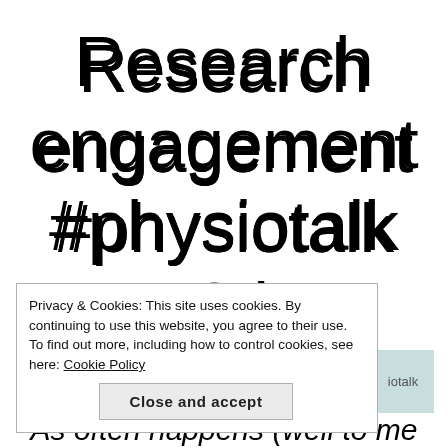Research engagement #physiotalk 18th September
Privacy & Cookies: This site uses cookies. By continuing to use this website, you agree to their use.
To find out more, including how to control cookies, see here: Cookie Policy
Close and accept
iotalk
As often happens (well to me anyway) I was